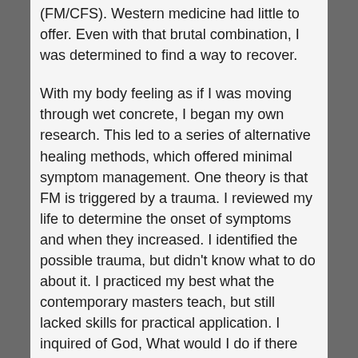(FM/CFS). Western medicine had little to offer. Even with that brutal combination, I was determined to find a way to recover.
With my body feeling as if I was moving through wet concrete, I began my own research. This led to a series of alternative healing methods, which offered minimal symptom management. One theory is that FM is triggered by a trauma. I reviewed my life to determine the onset of symptoms and when they increased. I identified the possible trauma, but didn't know what to do about it. I practiced my best what the contemporary masters teach, but still lacked skills for practical application. I inquired of God, What would I do if there were an earthquake, if I had no electricity for heat and my supplements fell into a crevasse? How would I manage to